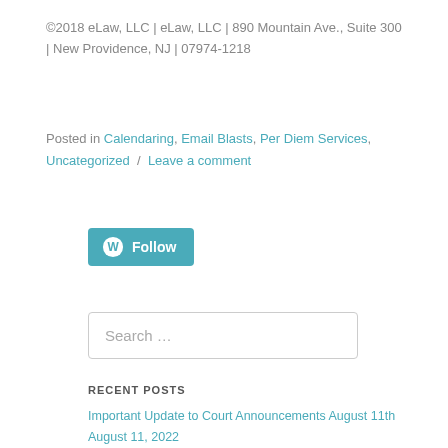©2018 eLaw, LLC | eLaw, LLC | 890 Mountain Ave., Suite 300 | New Providence, NJ | 07974-1218
Posted in Calendaring, Email Blasts, Per Diem Services, Uncategorized / Leave a comment
[Figure (other): WordPress Follow button with WordPress logo icon]
Search …
RECENT POSTS
Important Update to Court Announcements August 11th August 11, 2022
New eLaw Feature: Subpoenaed Records Tab January 28, 2022
Happy Holidays! December 16, 2021
2022 Court Holidays December 7, 2021
Important Update to Court Announcements October 15th October 27…